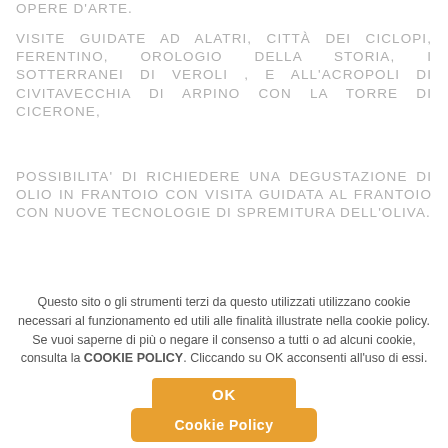OPERE D'ARTE.
VISITE GUIDATE AD ALATRI, CITTÀ DEI CICLOPI, FERENTINO, OROLOGIO DELLA STORIA, I SOTTERRANEI DI VEROLI , E ALL'ACROPOLI DI CIVITAVECCHIA DI ARPINO CON LA TORRE DI CICERONE,
POSSIBILITA' DI RICHIEDERE UNA DEGUSTAZIONE DI OLIO IN FRANTOIO CON VISITA GUIDATA AL FRANTOIO CON NUOVE TECNOLOGIE DI SPREMITURA DELL'OLIVA.
Questo sito o gli strumenti terzi da questo utilizzati utilizzano cookie necessari al funzionamento ed utili alle finalità illustrate nella cookie policy. Se vuoi saperne di più o negare il consenso a tutti o ad alcuni cookie, consulta la COOKIE POLICY. Cliccando su OK acconsenti all'uso di essi.
OK
Cookie Policy